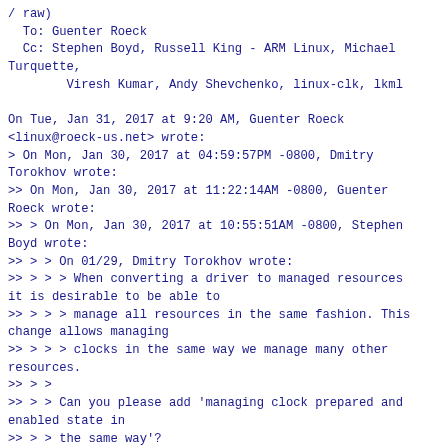/ raw)
  To: Guenter Roeck
  Cc: Stephen Boyd, Russell King - ARM Linux, Michael Turquette,
        Viresh Kumar, Andy Shevchenko, linux-clk, lkml

On Tue, Jan 31, 2017 at 9:20 AM, Guenter Roeck
<linux@roeck-us.net> wrote:
> On Mon, Jan 30, 2017 at 04:59:57PM -0800, Dmitry Torokhov wrote:
>> On Mon, Jan 30, 2017 at 11:22:14AM -0800, Guenter Roeck wrote:
>> > On Mon, Jan 30, 2017 at 10:55:51AM -0800, Stephen Boyd wrote:
>> > > On 01/29, Dmitry Torokhov wrote:
>> > > > When converting a driver to managed resources it is desirable to be able to
>> > > > manage all resources in the same fashion. This change allows managing
>> > > > clocks in the same way we manage many other resources.
>> > >
>> > > Can you please add 'managing clock prepared and enabled state in
>> > > the same way'?
>> > >
>> > > The current wording makes it sound like we don't have
>> > > devm_clk_get() when we do.
>> > >